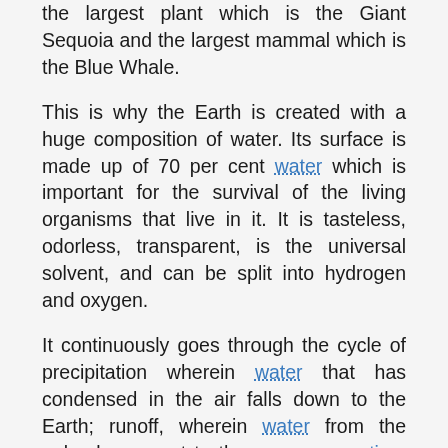the largest plant which is the Giant Sequoia and the largest mammal which is the Blue Whale.
This is why the Earth is created with a huge composition of water. Its surface is made up of 70 per cent water which is important for the survival of the living organisms that live in it. It is tasteless, odorless, transparent, is the universal solvent, and can be split into hydrogen and oxygen.
It continuously goes through the cycle of precipitation wherein water that has condensed in the air falls down to the Earth; runoff, wherein water from the upland goes out to the sea; evaporation, wherein water from open surfaces goes up into the air; and transpiration, wherein water from vegetation is released into the air.